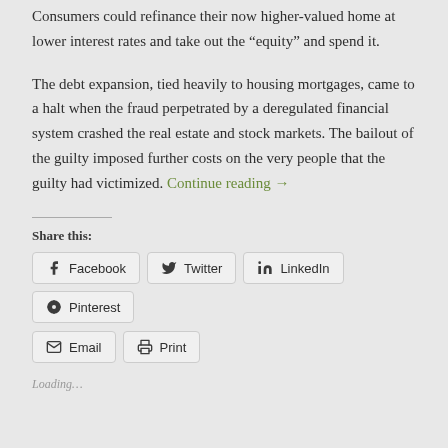Consumers could refinance their now higher-valued home at lower interest rates and take out the “equity” and spend it.
The debt expansion, tied heavily to housing mortgages, came to a halt when the fraud perpetrated by a deregulated financial system crashed the real estate and stock markets. The bailout of the guilty imposed further costs on the very people that the guilty had victimized. Continue reading →
Share this:
Facebook
Twitter
LinkedIn
Pinterest
Email
Print
Loading…